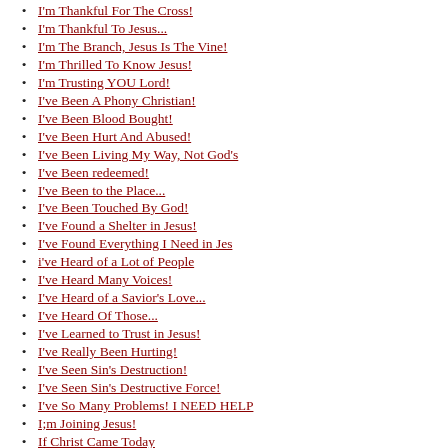I'm Thankful For The Cross!
I'm Thankful To Jesus...
I'm The Branch, Jesus Is The Vine!
I'm Thrilled To Know Jesus!
I'm Trusting YOU Lord!
I've Been A Phony Christian!
I've Been Blood Bought!
I've Been Hurt And Abused!
I've Been Living My Way, Not God's
I've Been redeemed!
I've Been to the Place...
I've Been Touched By God!
I've Found a Shelter in Jesus!
I've Found Everything I Need in Jes
i've Heard of a Lot of People
I've Heard Many Voices!
I've Heard of a Savior's Love...
I've Heard Of Those...
I've Learned to Trust in Jesus!
I've Really Been Hurting!
I've Seen Sin's Destruction!
I've Seen Sin's Destructive Force!
I've So Many Problems! I NEED HELP
I;m Joining Jesus!
If Christ Came Today
If Christ Were to Seek Your Approva
If God Is for Us Who Can Be
If God Is for Us...
If I Give God Everything...
If I Had to Live...